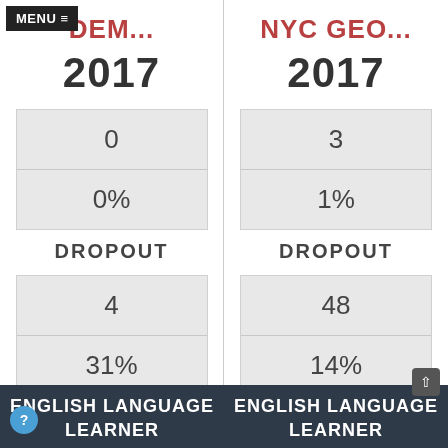MENU ≡
DEM...
2017
| 0 |
| 0% |
DROPOUT
| 4 |
| 31% |
NYC GEO...
2017
| 3 |
| 1% |
DROPOUT
| 48 |
| 14% |
ENGLISH LANGUAGE LEARNER
ENGLISH LANGUAGE LEARNER